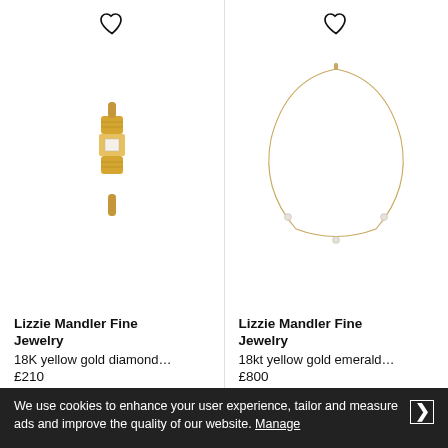[Figure (photo): Gold cylindrical ring with a rectangular diamond setting - 18K yellow gold diamond ring by Lizzie Mandler Fine Jewelry]
Lizzie Mandler Fine Jewelry
18K yellow gold diamond…
£210
[Figure (photo): Delicate gold chain necklace with small diamond stations - 18kt yellow gold emerald necklace by Lizzie Mandler Fine Jewelry]
Lizzie Mandler Fine Jewelry
18kt yellow gold emerald…
£800
We use cookies to enhance your user experience, tailor and measure ads and improve the quality of our website. Manage